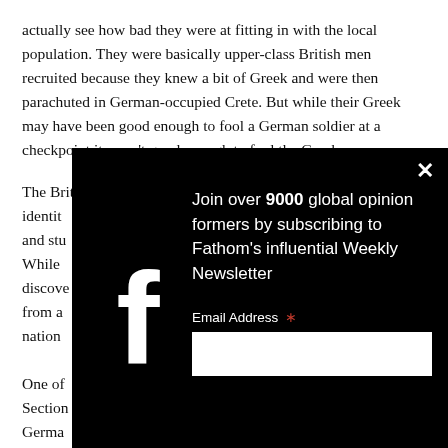actually see how bad they were at fitting in with the local population. They were basically upper-class British men recruited because they knew a bit of Greek and were then parachuted in German-occupied Crete. But while their Greek may have been good enough to fool a German soldier at a checkpoint it wasn't good enough to fool the Greeks.
The British understood how hard it was to assume an ethnic identity [text partially obscured] and stu[...] While [...] discove[...] from a[...] nation[...]
One of [...] Section [...] Germa[...] incredi[...]
[Figure (screenshot): Black modal overlay with Facebook 'f' logo on the left, close button (X) in top-right, text reading 'Join over 9000 global opinion formers by subscribing to Fathom's influential Weekly Newsletter', an Email Address field with red asterisk, and an empty white input box.]